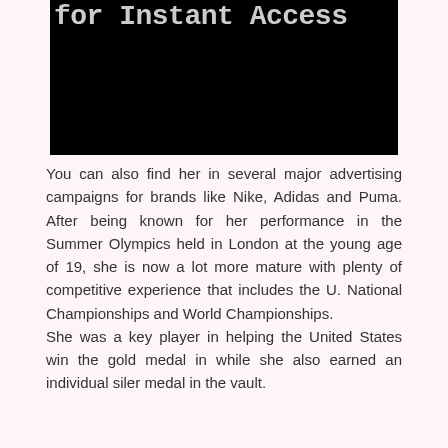[Figure (photo): Black rectangular image block with partial text 'for Instant Access' visible at the top in large gray monospace font]
You can also find her in several major advertising campaigns for brands like Nike, Adidas and Puma. After being known for her performance in the Summer Olympics held in London at the young age of 19, she is now a lot more mature with plenty of competitive experience that includes the U. National Championships and World Championships.
She was a key player in helping the United States win the gold medal in while she also earned an individual siler medal in the vault.